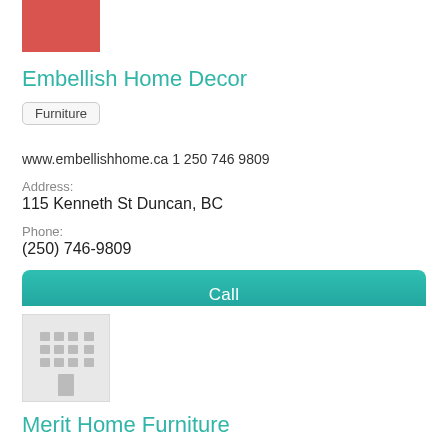[Figure (photo): Small red/pink business photo thumbnail at top]
Embellish Home Decor
Furniture
www.embellishhome.ca 1 250 746 9809
Address:
115 Kenneth St Duncan, BC
Phone:
(250) 746-9809
Call
View Profile
[Figure (illustration): Generic building/office placeholder icon in grey square]
Merit Home Furniture